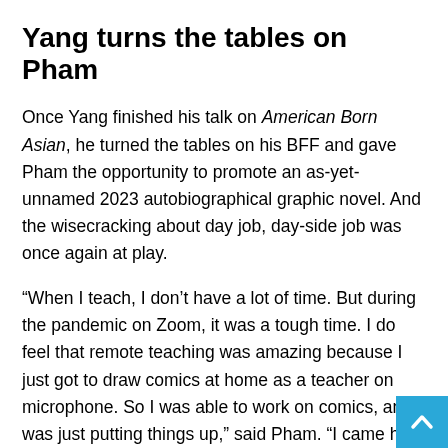Yang turns the tables on Pham
Once Yang finished his talk on American Born Asian, he turned the tables on his BFF and gave Pham the opportunity to promote an as-yet-unnamed 2023 autobiographical graphic novel. And the wisecracking about day job, day-side job was once again at play.
“When I teach, I don’t have a lot of time. But during the pandemic on Zoom, it was a tough time. I do feel that remote teaching was amazing because I just got to draw comics at home as a teacher on microphone. So I was able to work on comics, and I was just putting things up,” said Pham. “I came here to America from Vietnam when I was five years old. And I’ve always wanted to tell that story. And Gene was always like, ‘You got to tell that story.’ But I never felt I was ready artistically or emotionally or maturity wise. Now at 50 years old, I’m fi… ready to tell this story. And I want digital, whatever, to connect all…